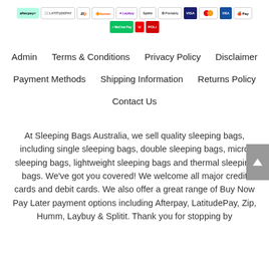[Figure (other): Row of payment method logos: Afterpay, LatitudePay, Zip, Humm, Laybuy, Splitit, Portably, Visa, Mastercard, blue card, Apple Pay, WeChat Pay, Ubiquity, POLi]
Admin   Terms & Conditions   Privacy Policy   Disclaimer
Payment Methods   Shipping Information   Returns Policy
Contact Us
At Sleeping Bags Australia, we sell quality sleeping bags, including single sleeping bags, double sleeping bags, micro sleeping bags, lightweight sleeping bags and thermal sleeping bags. We've got you covered! We welcome all major credit cards and debit cards. We also offer a great range of Buy Now Pay Later payment options including Afterpay, LatitudePay, Zip, Humm, Laybuy & Splitit. Thank you for stopping by